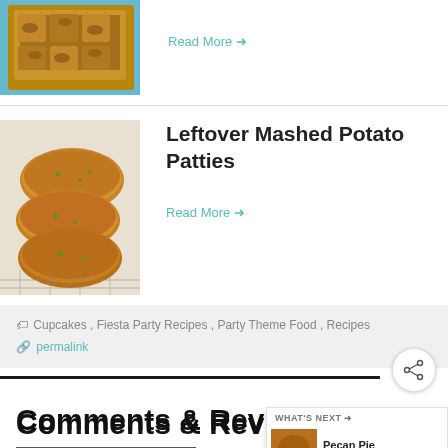[Figure (photo): Photo of baked/nutty food item on a blue plate, top-left corner cropped]
Read More →
[Figure (photo): Photo of golden-brown mashed potato patties stacked on a wire rack]
Leftover Mashed Potato Patties
Read More →
Cupcakes , Fiesta Party Recipes , Party Theme Food , Recipes
permalink
Comments & Reviews
Comments   Reviews   Write a review